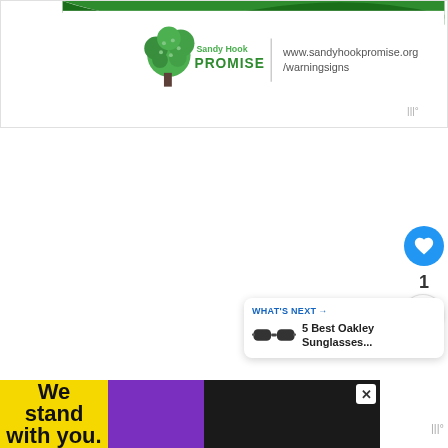[Figure (logo): Sandy Hook Promise logo with tree icon and website URL www.sandyhookpromise.org/warningsigns on a white banner with green wave decoration at top]
[Figure (infographic): Like button (blue circle with heart icon), count of 1, and share button (white circle with share icon) on right side]
[Figure (infographic): What's Next panel showing sunglasses image and text '5 Best Oakley Sunglasses...']
[Figure (infographic): Advertisement banner reading 'We stand with you.' with yellow, purple, and black sections and a close button]